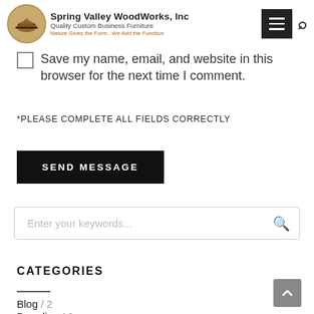Spring Valley WoodWorks, Inc — Quality Custom Business Furniture — Nature Gives the Form...We Add the Function
Save my name, email, and website in this browser for the next time I comment.
*PLEASE COMPLETE ALL FIELDS CORRECTLY
SEND MESSAGE
Enter your keywords...
CATEGORIES
Blog / 2
Branding / 2